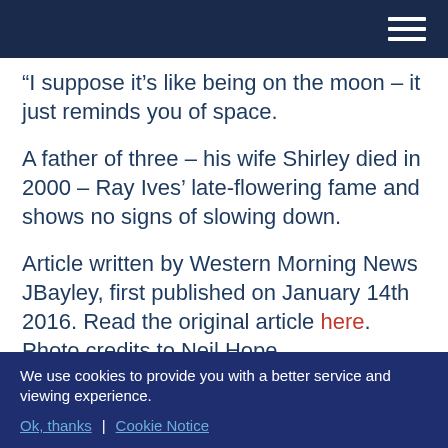[Navigation bar with hamburger menu]
“I suppose it’s like being on the moon – it just reminds you of space.
A father of three – his wife Shirley died in 2000 – Ray Ives’ late-flowering fame and shows no signs of slowing down.
Article written by Western Morning News JBayley, first published on January 14th 2016. Read the original article here. Photo credits to Neil Hope
We use cookies to provide you with a better service and viewing experience.
Ok, thanks | Cookie Notice